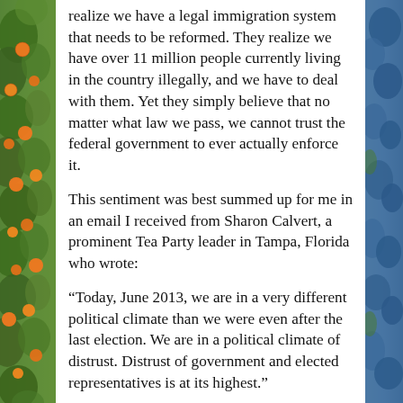realize we have a legal immigration system that needs to be reformed. They realize we have over 11 million people currently living in the country illegally, and we have to deal with them. Yet they simply believe that no matter what law we pass, we cannot trust the federal government to ever actually enforce it.
This sentiment was best summed up for me in an email I received from Sharon Calvert, a prominent Tea Party leader in Tampa, Florida who wrote:
“Today, June 2013, we are in a very different political climate than we were even after the last election. We are in a political climate of distrust. Distrust of government and elected representatives is at its highest.”
She goes on to say, “Do we want to trust this administration to faithfully enforce bill to th…